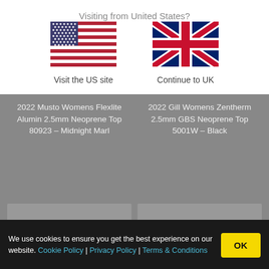Visiting from United States?
[Figure (illustration): US flag]
Visit the US site
[Figure (illustration): UK flag]
Continue to UK
2022 Musto Womens Flexlite Alumin 2.5mm Neoprene Top 80923 – Midnight Marl
2022 Gill Womens Zentherm 2.5mm GBS Neoprene Top 5001W – Black
We use cookies to ensure you get the best experience on our website. Cookie Policy | Privacy Policy | Terms & Conditions